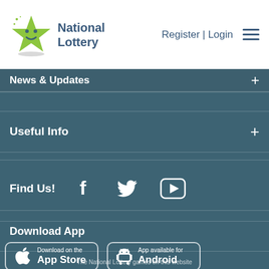[Figure (logo): National Lottery logo with green star character and text 'National Lottery']
Register | Login ≡
News & Updates +
Useful Info +
Find Us!
[Figure (infographic): Social media icons: Facebook, Twitter, YouTube]
Download App
[Figure (infographic): Download on the App Store button]
[Figure (infographic): App available for Android button]
The National Lottery games on this website